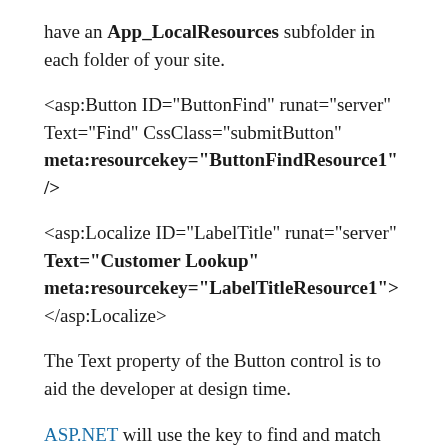have an App_LocalResources subfolder in each folder of your site.
<asp:Button ID="ButtonFind" runat="server" Text="Find" CssClass="submitButton" meta:resourcekey="ButtonFindResource1" />
<asp:Localize ID="LabelTitle" runat="server" Text="Customer Lookup" meta:resourcekey="LabelTitleResource1"> </asp:Localize>
The Text property of the Button control is to aid the developer at design time.
ASP.NET will use the key to find and match on